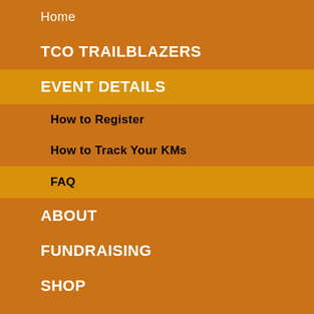Home
TCO TRAILBLAZERS
EVENT DETAILS
How to Register
How to Track Your KMs
FAQ
ABOUT
FUNDRAISING
SHOP
LOCAL TRAILS
LOCAL OFFERS
CONTEST